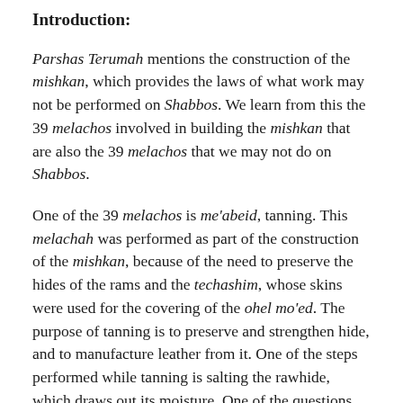Introduction:
Parshas Terumah mentions the construction of the mishkan, which provides the laws of what work may not be performed on Shabbos. We learn from this the 39 melachos involved in building the mishkan that are also the 39 melachos that we may not do on Shabbos.
One of the 39 melachos is me'abeid, tanning. This melachah was performed as part of the construction of the mishkan, because of the need to preserve the hides of the rams and the techashim, whose skins were used for the covering of the ohel mo'ed. The purpose of tanning is to preserve and strengthen hide, and to manufacture leather from it. One of the steps performed while tanning is salting the rawhide, which draws out its moisture. One of the questions that we will be discussing is whether, and